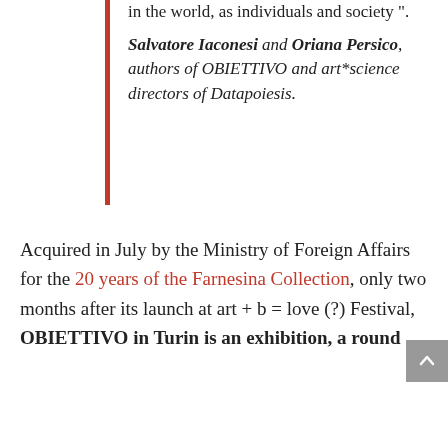in the world, as individuals and society ".
Salvatore Iaconesi and Oriana Persico, authors of OBIETTIVO and art*science directors of Datapoiesis.
Acquired in July by the Ministry of Foreign Affairs for the 20 years of the Farnesina Collection, only two months after its launch at art + b = love (?) Festival, OBIETTIVO in Turin is an exhibition, a round